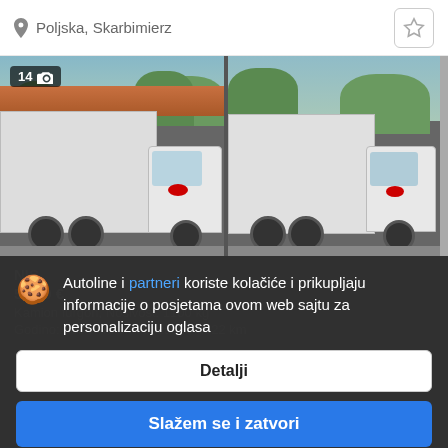Poljska, Skarbimierz
[Figure (photo): Two white box trucks/vans parked side by side with trees and hills in background. Photo strip with 14 photo count badge.]
Autoline i partneri koriste kolačiće i prikupljaju informacije o posjetama ovom web sajtu za personalizaciju oglasa
Detalji
Slažem se i zatvori